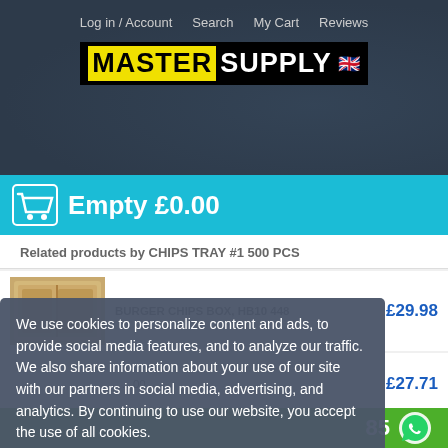Log in / Account   Search   My Cart   Reviews
[Figure (logo): MasterSupply UK logo with yellow MASTER and white SUPPLY text on black background with UK flag]
Empty  £0.00
Related products by CHIPS TRAY #1 500 PCS
[Figure (photo): Product thumbnail of burger/chips box tray in tan/brown color]
BURGER CHIPS BOX, HB10 448
£29.98
£27.71
We use cookies to personalize content and ads, to provide social media features, and to analyze our traffic. We also share information about your use of our site with our partners in social media, advertising, and analytics. By continuing to use our website, you accept the use of all cookies.
More information can be found in our Cookies and Privacy Policy.
Close
85